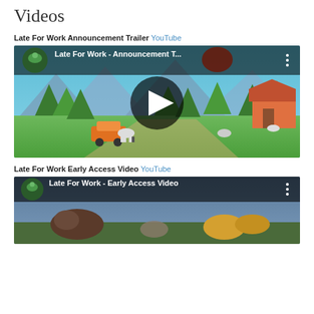Videos
Late For Work Announcement Trailer YouTube
[Figure (screenshot): YouTube embedded video thumbnail for 'Late For Work - Announcement T...' showing a colorful low-poly game scene with trees, cows, cars, houses, mountains, and a play button overlay. Robot channel avatar in top left.]
Late For Work Early Access Video YouTube
[Figure (screenshot): YouTube embedded video thumbnail for 'Late For Work - Early Access Video' showing a dark/moody low-poly scene with animals. Robot channel avatar in top left.]